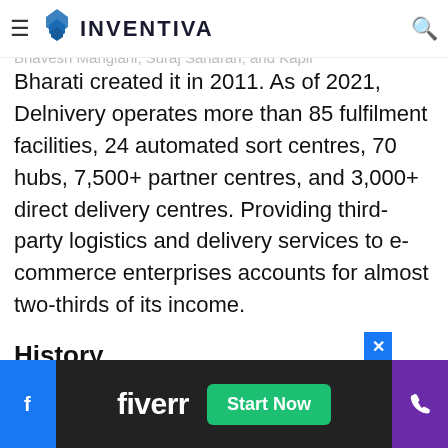INVENTIVA
Delnivery is a Gurgaon-based Indian logistics and supply company. Sahil Barua, Mohit Tandon, Bhavesh Manglani, Suraj Saharan, and Kapil Bharati created it in 2011. As of 2021, Delnivery operates more than 85 fulfilment facilities, 24 automated sort centres, 70 hubs, 7,500+ partner centres, and 3,000+ direct delivery centres. Providing third-party logistics and delivery services to e-commerce enterprises accounts for almost two-thirds of its income.
History
[Figure (other): Advertisement banner: fiverr logo with 'Start Now' button in green, flanked by Facebook icon on the left and phone icon on the right on a dark background.]